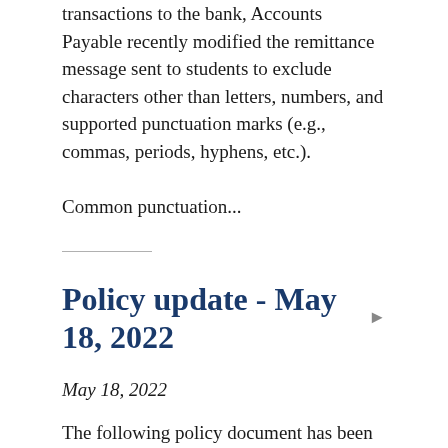transactions to the bank, Accounts Payable recently modified the remittance message sent to students to exclude characters other than letters, numbers, and supported punctuation marks (e.g., commas, periods, hyphens, etc.).
Common punctuation...
Policy update - May 18, 2022
May 18, 2022
The following policy document has been updated and is now published and effective. In order to implement a key internal control measure, this